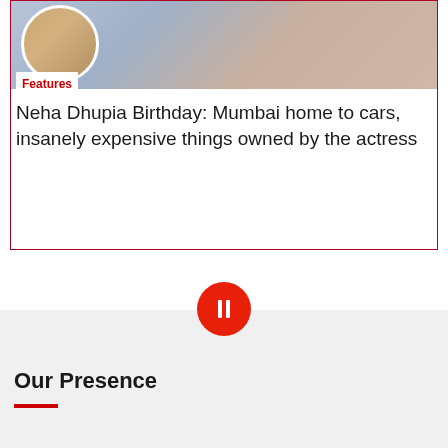[Figure (photo): Article card with a circular inset photo on the left and a larger fashion photo on the right, showing a woman in patterned clothing]
Features
Neha Dhupia Birthday: Mumbai home to cars, insanely expensive things owned by the actress
[Figure (other): Red circular button with a white vertical rectangle/pause icon in the center]
Our Presence